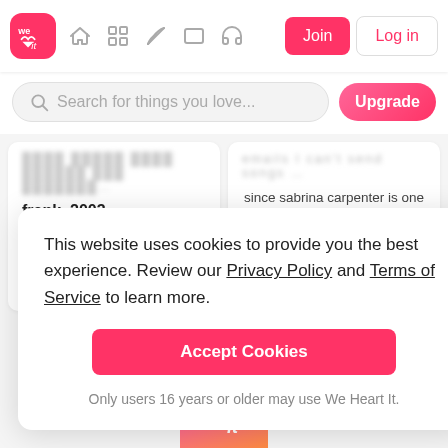[Figure (screenshot): We Heart It website navigation bar with logo, icons, Join and Log in buttons]
Search for things you love...
Upgrade
frank, 2003 ♡ take the box amy amy amy
emails I can't send songs ... since sabrina carpenter is one of my favorite artists, these are the aesthetic of the songs of
more › by @hawkingp...
This website uses cookies to provide you the best experience. Review our Privacy Policy and Terms of Service to learn more.
Accept Cookies
Only users 16 years or older may use We Heart It.
[Figure (logo): We Heart It app logo — pink/orange gradient rounded square with white heart and 'it' text]